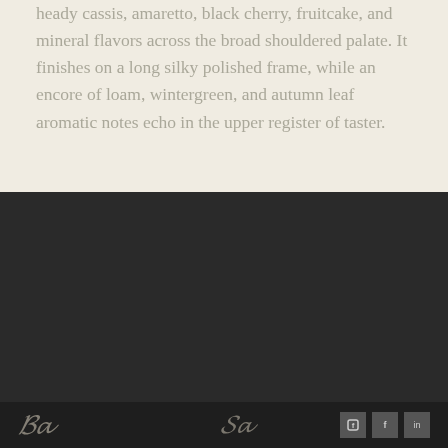heady cassis, amaretto, black cherry, fruitcake, and mineral flavors across the broad shouldered palate. It finishes on a long silky polished frame, while an encore of loam, wintergreen, and autumn leaf aromatic notes echo in the upper register of taster.
JOIN OUR MAILING LIST
TRADE & MEDIA
TERMS OF USE
CONTACT US
PRIVACY POLICY
DONATION REQUESTS
SHIPPING INFORMATION
RETURNS & CANCELLATIONS
Logo and social media icons